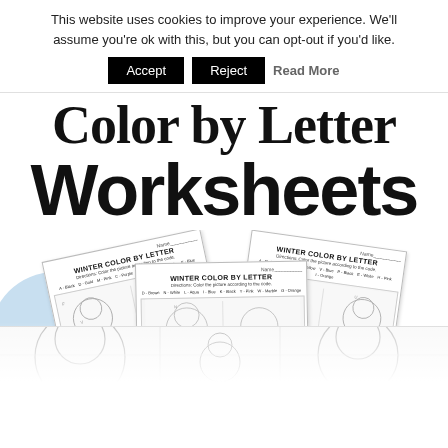This website uses cookies to improve your experience. We'll assume you're ok with this, but you can opt-out if you'd like.
Accept  Reject  Read More
Color by Letter Worksheets
[Figure (illustration): Preview of three Winter Color By Letter worksheet pages fanned out, showing owl/snowman coloring images with color code keys. A light blue circle is visible at the bottom left. The bottom portion shows a partial view of another worksheet.]